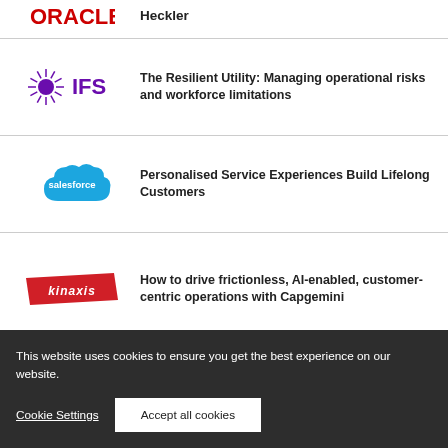[Figure (logo): Oracle logo (partial, red text) with text 'Heckler' next to it]
Heckler
[Figure (logo): IFS logo - starburst/sunburst icon in purple and white, with 'IFS' text in purple]
The Resilient Utility: Managing operational risks and workforce limitations
[Figure (logo): Salesforce logo - blue cloud shape with white text 'salesforce']
Personalised Service Experiences Build Lifelong Customers
[Figure (logo): Kinaxis logo - red parallelogram/flag shape with white italic text 'kinaxis']
How to drive frictionless, AI-enabled, customer-centric operations with Capgemini
This website uses cookies to ensure you get the best experience on our website.
Cookie Settings
Accept all cookies